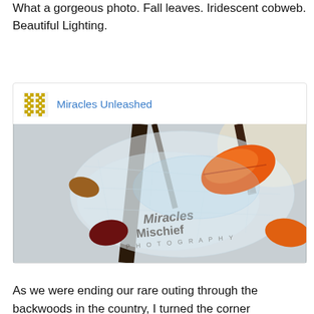What a gorgeous photo. Fall leaves. Iridescent cobweb. Beautiful Lighting.
Miracles Unleashed
[Figure (photo): Close-up macro photo of an iridescent cobweb among autumn leaves and dark branches, with a watermark reading 'Miracles Mischief Photography']
As we were ending our rare outing through the backwoods in the country, I turned the corner